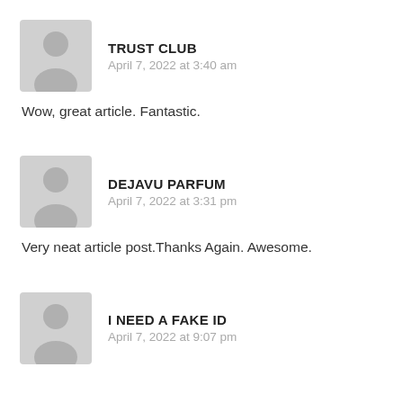[Figure (illustration): Generic user avatar placeholder - grey silhouette of a person on light grey background]
TRUST CLUB
April 7, 2022 at 3:40 am
Wow, great article. Fantastic.
[Figure (illustration): Generic user avatar placeholder - grey silhouette of a person on light grey background]
DEJAVU PARFUM
April 7, 2022 at 3:31 pm
Very neat article post.Thanks Again. Awesome.
[Figure (illustration): Generic user avatar placeholder - grey silhouette of a person on light grey background]
I NEED A FAKE ID
April 7, 2022 at 9:07 pm